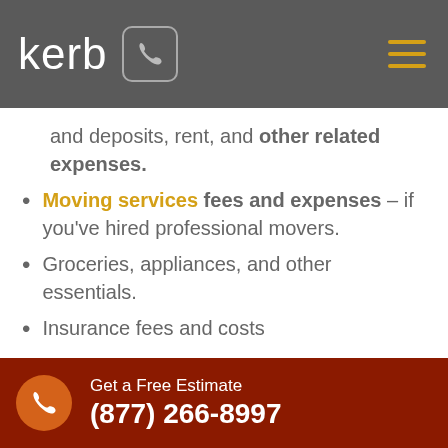kerb [phone icon] [menu]
and deposits, rent, and other related expenses.
Moving services fees and expenses – if you've hired professional movers.
Groceries, appliances, and other essentials.
Insurance fees and costs
Furniture
Utilities
Internet
Get a Free Estimate (877) 266-8997